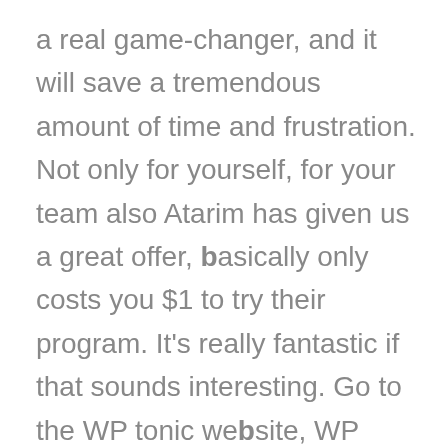a real game-changer, and it will save a tremendous amount of time and frustration. Not only for yourself, for your team also Atarim has given us a great offer, basically only costs you $1 to try their program. It's really fantastic if that sounds interesting. Go to the WP tonic website, WP tonic backlink newsletter, and you'll be able to try this great product, like I said for just $1 what a fantastic offer. See you soon folks.